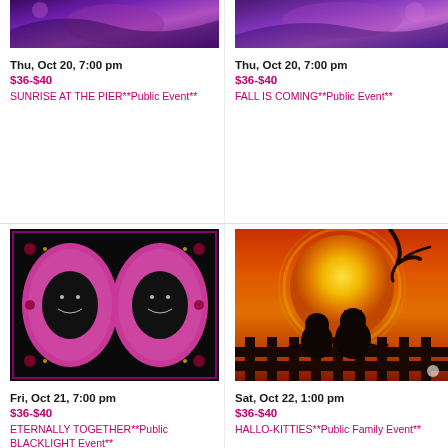[Figure (illustration): Partial view of a purple/blue painting at top left, appears to be a fantasy scene]
Thu, Oct 20, 7:00 pm
$36-$40
SUNRISE AT THE PIER**Public Event**
[Figure (illustration): Partial view of a purple painting at top right, fantasy scene with figure]
Thu, Oct 20, 7:00 pm
$36-$40
FALL IS COMING**Public Event**
[Figure (illustration): Two Day of the Dead sugar skull silhouette portraits on pink oval backgrounds with decorative borders on black]
Fri, Oct 21, 7:00 pm
$36-$40
ETERNALLY TOGETHER**Public BLACKLIGHT Event**
[Figure (illustration): Two black cat silhouettes sitting on a fence in front of a large yellow moon on an orange/red sunset background]
Sat, Oct 22, 1:00 pm
$36-$40
HALLO-KITTIES**Public Family Event**